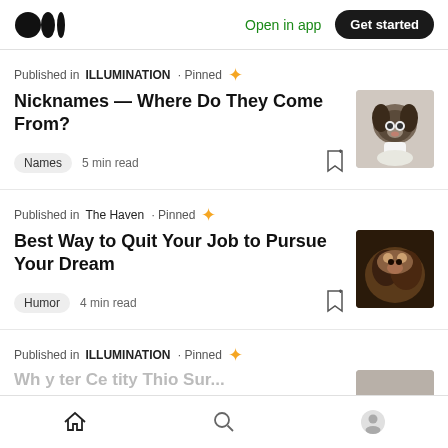Medium logo | Open in app | Get started
Published in ILLUMINATION · Pinned ✦
Nicknames — Where Do They Come From?
Names  5 min read
Published in The Haven · Pinned ✦
Best Way to Quit Your Job to Pursue Your Dream
Humor  4 min read
Published in ILLUMINATION · Pinned ✦
Home | Search | Profile